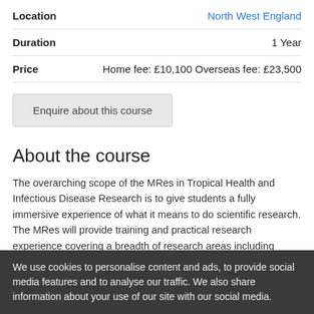| Field | Value |
| --- | --- |
| Location | North West England |
| Duration | 1 Year |
| Price | Home fee: £10,100 Overseas fee: £23,500 |
Enquire about this course
About the course
The overarching scope of the MRes in Tropical Health and Infectious Disease Research is to give students a fully immersive experience of what it means to do scientific research. The MRes will provide training and practical research experience covering a breadth of research areas including basic, clinical and public health research with a focus on low resource settings. In the first part of the course, students will receive advanced and research-informed
We use cookies to personalise content and ads, to provide social media features and to analyse our traffic. We also share information about your use of our site with our social media.